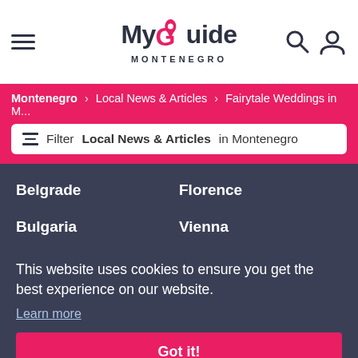My Guide Montenegro
Montenegro > Local News & Articles > Fairytale Weddings in M...
Filter Local News & Articles in Montenegro
Belgrade
Florence
Bulgaria
Vienna
This website uses cookies to ensure you get the best experience on our website.
Learn more
Got it!
Submit an Event for FREE